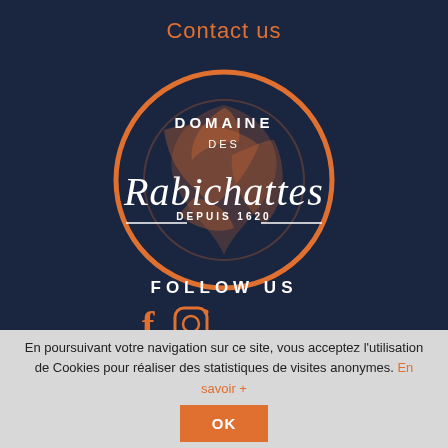Contact us
[Figure (logo): Domaine des Rabichattes DEPUIS 1620 — circular logo with orange and dark blue design, script lettering]
FOLLOW US
[Figure (infographic): Facebook and Instagram social media icons in orange]
En poursuivant votre navigation sur ce site, vous acceptez l'utilisation de Cookies pour réaliser des statistiques de visites anonymes. En savoir + OK